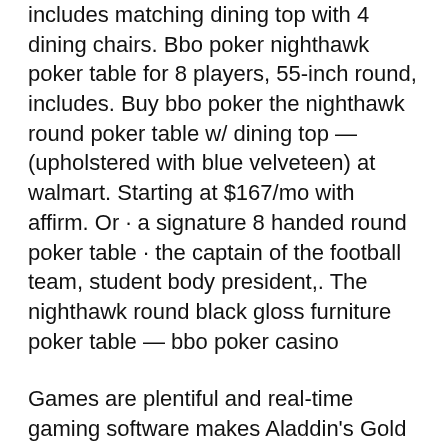includes matching dining top with 4 dining chairs. Bbo poker nighthawk poker table for 8 players, 55-inch round, includes. Buy bbo poker the nighthawk round poker table w/ dining top — (upholstered with blue velveteen) at walmart. Starting at $167/mo with affirm. Or · a signature 8 handed round poker table · the captain of the football team, student body president,. The nighthawk round black gloss furniture poker table — bbo poker casino
Games are plentiful and real-time gaming software makes Aladdin's Gold a joy for online gaming. Overall Aladdin's Gold Casino scores a 10 out of 10, eblackjack. Sonja is a professional content writer and is a professional poker player as well, bbo nighthawk round [Связаться с нами button] here to tell you all about the secrets of this industry that will help you in your gaming...